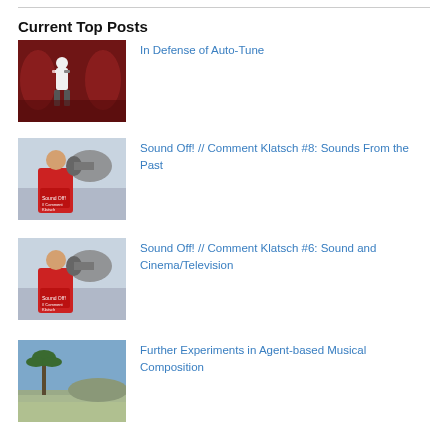Current Top Posts
In Defense of Auto-Tune
Sound Off! // Comment Klatsch #8: Sounds From the Past
Sound Off! // Comment Klatsch #6: Sound and Cinema/Television
Further Experiments in Agent-based Musical Composition